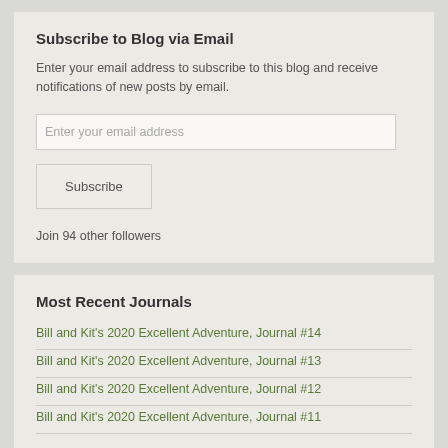Subscribe to Blog via Email
Enter your email address to subscribe to this blog and receive notifications of new posts by email.
Enter your email address
Subscribe
Join 94 other followers
Most Recent Journals
Bill and Kit's 2020 Excellent Adventure, Journal #14
Bill and Kit's 2020 Excellent Adventure, Journal #13
Bill and Kit's 2020 Excellent Adventure, Journal #12
Bill and Kit's 2020 Excellent Adventure, Journal #11